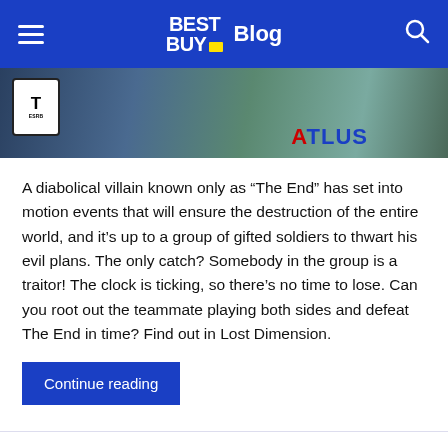BEST BUY Blog
[Figure (illustration): Game cover art showing animated characters with ESRB rating badge and Atlus logo]
A diabolical villain known only as “The End” has set into motion events that will ensure the destruction of the entire world, and it’s up to a group of gifted soldiers to thwart his evil plans. The only catch? Somebody in the group is a traitor! The clock is ticking, so there’s no time to lose. Can you root out the teammate playing both sides and defeat The End in time? Find out in Lost Dimension.
Continue reading
Review: Rory McIlroy PGA Tour makes the cut